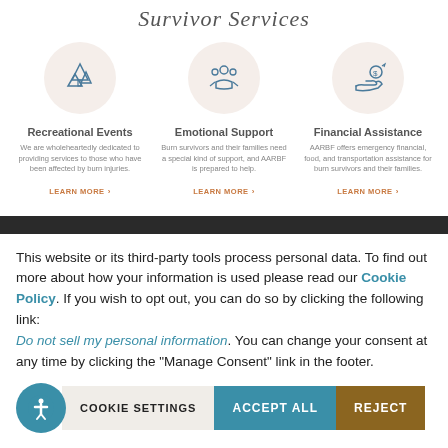Survivor Services
[Figure (illustration): Three service icons in circular backgrounds: camping/outdoor scene, group of people, and hand holding money with dollar sign]
Recreational Events
We are wholeheartedly dedicated to providing services to those who have been affected by burn injuries.
Emotional Support
Burn survivors and their families need a special kind of support, and AARBF is prepared to help.
Financial Assistance
AARBF offers emergency financial, food, and transportation assistance for burn survivors and their families.
This website or its third-party tools process personal data. To find out more about how your information is used please read our Cookie Policy. If you wish to opt out, you can do so by clicking the following link: Do not sell my personal information. You can change your consent at any time by clicking the "Manage Consent" link in the footer.